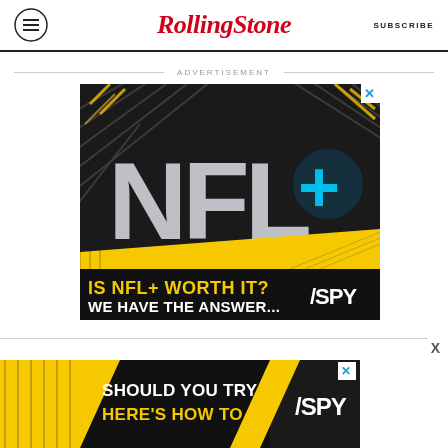Rolling Stone | SUBSCRIBE
ADVERTISEMENT
[Figure (photo): NFL+ advertisement showing 3D NFL+ logo with blue glowing plus sign on dark background with diagonal stripes, text reads 'IS NFL+ WORTH IT? WE HAVE THE ANSWER...' with SPY logo]
[Figure (photo): SPY/NFL+ sticky bottom ad: 'SHOULD YOU TRY NFL+? HERE'S HOW TO DECIDE' on dark background with yellow text and SPY logo]